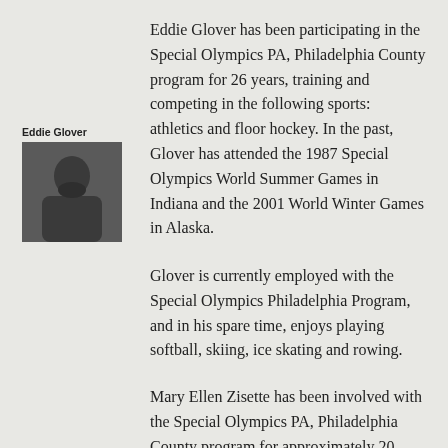Eddie Glover has been participating in the Special Olympics PA, Philadelphia County program for 26 years, training and competing in the following sports: athletics and floor hockey. In the past, Glover has attended the 1987 Special Olympics World Summer Games in Indiana and the 2001 World Winter Games in Alaska.
Eddie Glover
[Figure (photo): Portrait photo of Eddie Glover, a man with a beard wearing a dark shirt]
Glover is currently employed with the Special Olympics Philadelphia Program, and in his spare time, enjoys playing softball, skiing, ice skating and rowing.
Mary Ellen Zisette has been involved with the Special Olympics PA, Philadelphia County program for approximately 20